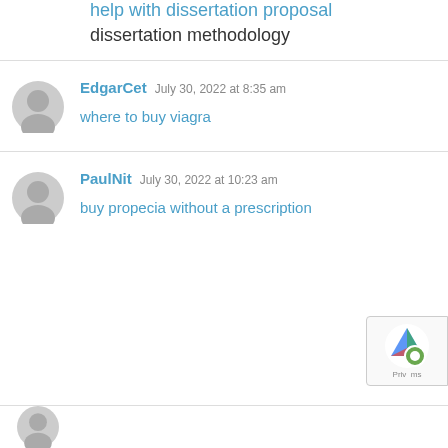help with dissertation proposal
dissertation methodology
EdgarCet  July 30, 2022 at 8:35 am
where to buy viagra
PaulNit  July 30, 2022 at 10:23 am
buy propecia without a prescription